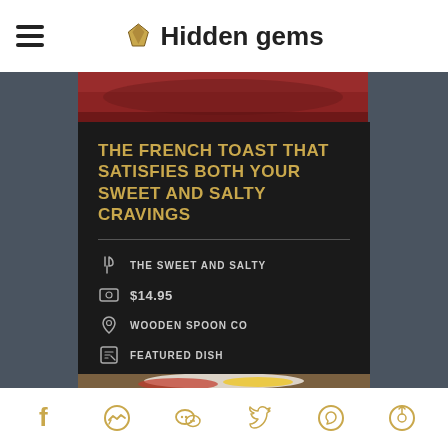Hidden gems
[Figure (photo): Close-up photo of red food (appears to be French toast with red sauce/jam)]
THE FRENCH TOAST THAT SATISFIES BOTH YOUR SWEET AND SALTY CRAVINGS
THE SWEET AND SALTY
$14.95
WOODEN SPOON CO
FEATURED DISH
[Figure (photo): Photo of a plate with French toast and fresh fruit including strawberries, pineapple, kiwi]
Social sharing icons: Facebook, Messenger, WeChat, Twitter, WhatsApp, other